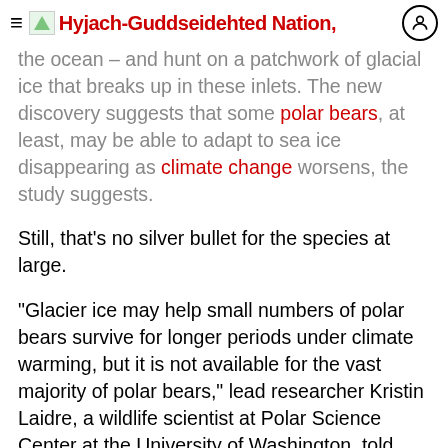Hyjach-Guddseidehted Nation,
the ocean – and hunt on a patchwork of glacial ice that breaks up in these inlets. The new discovery suggests that some polar bears, at least, may be able to adapt to sea ice disappearing as climate change worsens, the study suggests.

Still, that's no silver bullet for the species at large.

"Glacier ice may help small numbers of polar bears survive for longer periods under climate warming, but it is not available for the vast majority of polar bears," lead researcher Kristin Laidre, a wildlife scientist at Polar Science Center at the University of Washington, told Live Science in an email.